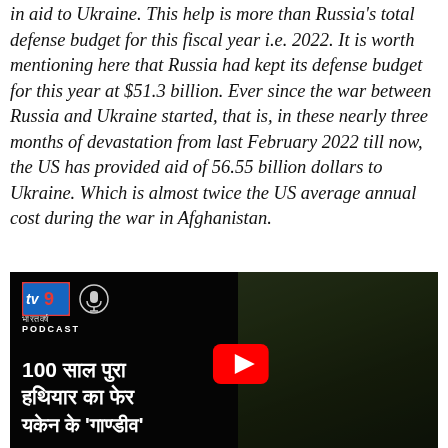in aid to Ukraine. This help is more than Russia's total defense budget for this fiscal year i.e. 2022. It is worth mentioning here that Russia had kept its defense budget for this year at $51.3 billion. Ever since the war between Russia and Ukraine started, that is, in these nearly three months of devastation from last February 2022 till now, the US has provided aid of 56.55 billion dollars to Ukraine. Which is almost twice the US average annual cost during the war in Afghanistan.
[Figure (screenshot): TV9 Bharatvarsha Podcast YouTube video thumbnail showing a machine gun with ammunition belt. Title reads '100 साल पुरा हथियार का फेर यकेन के गाण्डीव' with a YouTube play button in the center.]